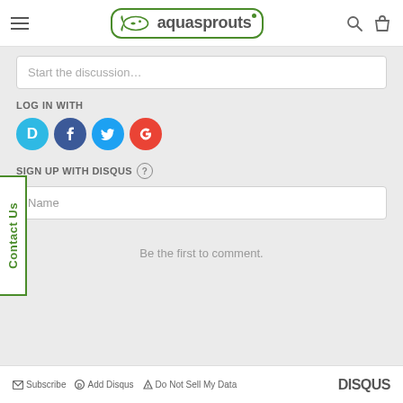[Figure (screenshot): Aquasprouts website header with hamburger menu, logo, search and bag icons]
Start the discussion…
LOG IN WITH
[Figure (infographic): Social login buttons: Disqus (blue), Facebook (dark blue), Twitter (light blue), Google (red)]
SIGN UP WITH DISQUS
Name
Be the first to comment.
Subscribe  Add Disqus  Do Not Sell My Data    DISQUS